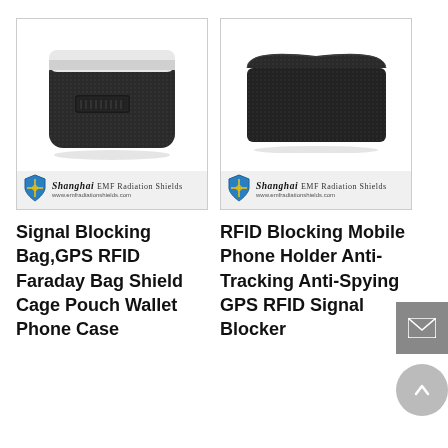[Figure (photo): Black textured signal blocking Faraday bag with velcro closure and white zipper lining, open at top. Shanghai EMF Radiation Shields logo at bottom.]
[Figure (photo): Black textured RFID blocking mobile phone holder/pouch in envelope style with snap flap closure. Shanghai EMF Radiation Shields logo at bottom.]
Signal Blocking Bag,GPS RFID Faraday Bag Shield Cage Pouch Wallet Phone Case
RFID Blocking Mobile Phone Holder Anti-Tracking Anti-Spying GPS RFID Signal Blocker